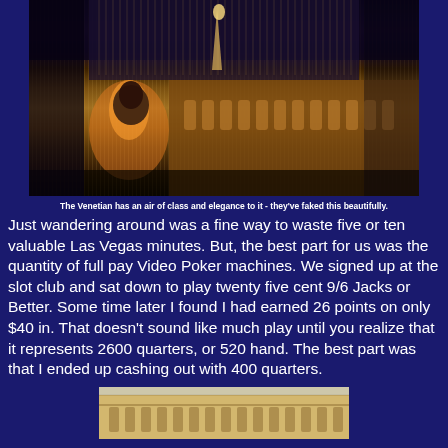[Figure (photo): Night aerial photo of The Venetian hotel and casino in Las Vegas, showing illuminated building facades with ornate architecture and a large decorative statue or figure in the foreground]
The Venetian has an air of class and elegance to it - they've faked this beautifully.
Just wandering around was a fine way to waste five or ten valuable Las Vegas minutes. But, the best part for us was the quantity of full pay Video Poker machines. We signed up at the slot club and sat down to play twenty five cent 9/6 Jacks or Better. Some time later I found I had earned 26 points on only $40 in. That doesn't sound like much play until you realize that it represents 2600 quarters, or 520 hand. The best part was that I ended up cashing out with 400 quarters.
[Figure (photo): Daytime photo of The Venetian hotel exterior showing the ornate facade architecture]